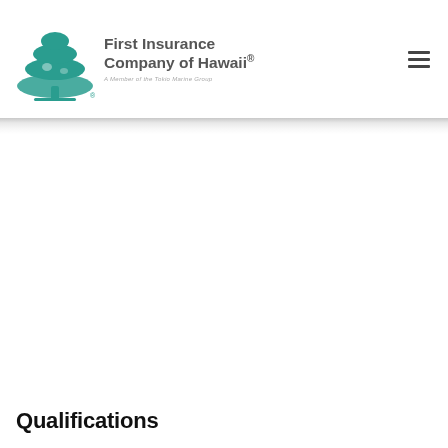[Figure (logo): First Insurance Company of Hawaii logo with teal tree icon and company name text. Tagline: A Member of the Tokio Marine Group]
Qualifications